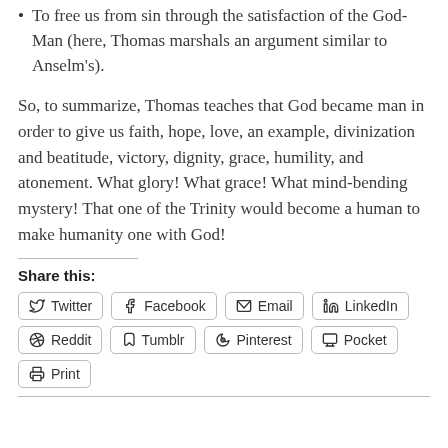To free us from sin through the satisfaction of the God-Man (here, Thomas marshals an argument similar to Anselm's).
So, to summarize, Thomas teaches that God became man in order to give us faith, hope, love, an example, divinization and beatitude, victory, dignity, grace, humility, and atonement. What glory! What grace! What mind-bending mystery! That one of the Trinity would become a human to make humanity one with God!
Share this:
Twitter  Facebook  Email  LinkedIn  Reddit  Tumblr  Pinterest  Pocket  Print